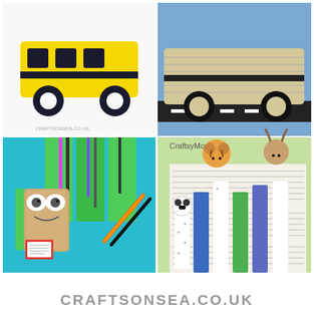[Figure (photo): Four-photo collage of children's paper crafts: top-left shows a yellow paper school bus craft on white background; top-right shows a newspaper/collage school bus on blue paper background with a dashed road; bottom-left shows a toilet-paper-roll pencil holder decorated as a frog character with googly eyes, holding pens and markers on a teal background; bottom-right shows animal-themed bookmarks (tiger, deer, koala, panda) on a book page background with 'CraftsyMom.com' watermark.]
CRAFTSONSEA.CO.UK